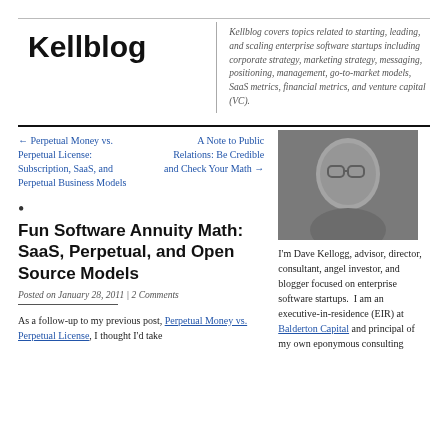Kellblog
Kellblog covers topics related to starting, leading, and scaling enterprise software startups including corporate strategy, marketing strategy, messaging, positioning, management, go-to-market models, SaaS metrics, financial metrics, and venture capital (VC).
← Perpetual Money vs. Perpetual License: Subscription, SaaS, and Perpetual Business Models
A Note to Public Relations: Be Credible and Check Your Math →
[Figure (photo): Black and white photo of Dave Kellogg, a man with glasses]
Fun Software Annuity Math: SaaS, Perpetual, and Open Source Models
Posted on January 28, 2011 | 2 Comments
As a follow-up to my previous post, Perpetual Money vs. Perpetual License, I thought I'd take
I'm Dave Kellogg, advisor, director, consultant, angel investor, and blogger focused on enterprise software startups.  I am an executive-in-residence (EIR) at Balderton Capital and principal of my own eponymous consulting